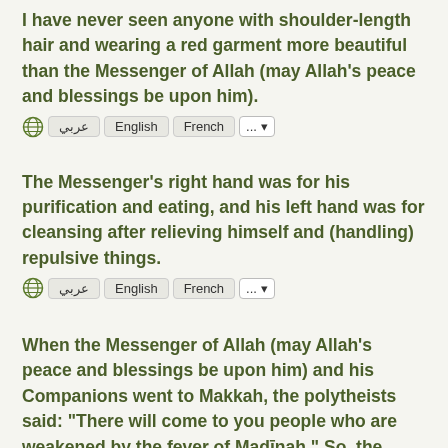I have never seen anyone with shoulder-length hair and wearing a red garment more beautiful than the Messenger of Allah (may Allah's peace and blessings be upon him).
Language toolbar: globe icon, عربي, English, French, ... dropdown
The Messenger's right hand was for his purification and eating, and his left hand was for cleansing after relieving himself and (handling) repulsive things.
Language toolbar: globe icon, عربي, English, French, ... dropdown
When the Messenger of Allah (may Allah's peace and blessings be upon him) and his Companions went to Makkah, the polytheists said: "There will come to you people who are weakened by the fever of Madīnah." So, the Prophet (may Allah's peace and blessings be upon him) commanded